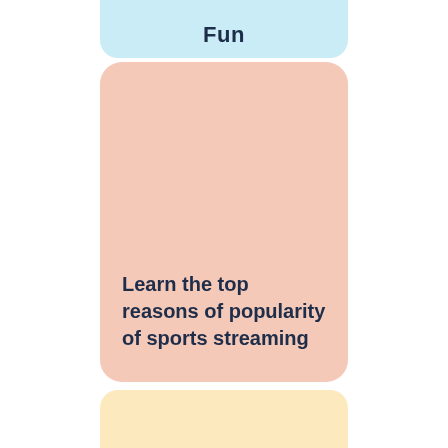Fun
Learn the top reasons of popularity of sports streaming